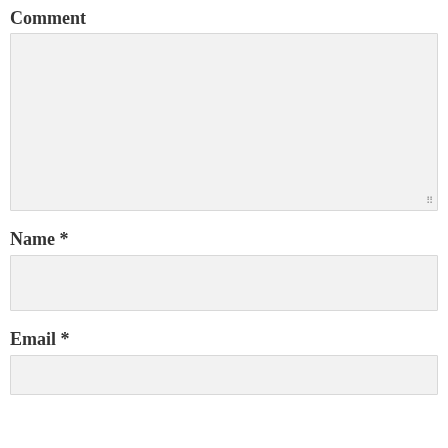Comment
[Figure (other): Comment text area input box, empty, with resize handle at bottom right]
Name *
[Figure (other): Name text input box, empty]
Email *
[Figure (other): Email text input box, empty, partially visible]